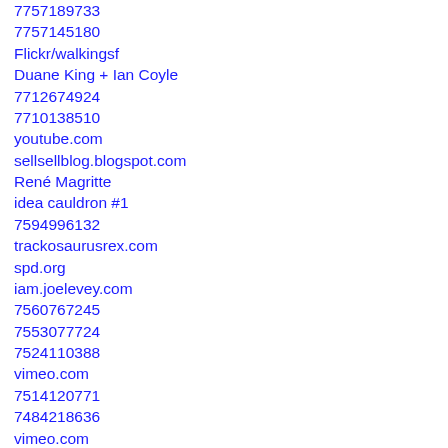7757189733
7757145180
Flickr/walkingsf
Duane King + Ian Coyle
7712674924
7710138510
youtube.com
sellsellblog.blogspot.com
René Magritte
idea cauldron #1
7594996132
trackosaurusrex.com
spd.org
iam.joelevey.com
7560767245
7553077724
7524110388
vimeo.com
7514120771
7484218636
vimeo.com